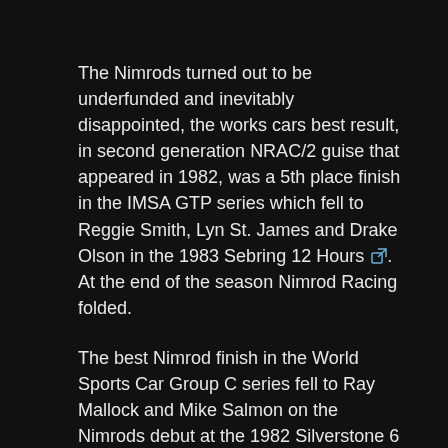The Nimrods turned out to be underfunded and inevitably disappointed, the works cars best result, in second generation NRAC/2 guise that appeared in 1982, was a 5th place finish in the IMSA GTP series which fell to Reggie Smith, Lyn St. James and Drake Olson in the 1983 Sebring 12 Hours [link]. At the end of the season Nimrod Racing folded.
The best Nimrod finish in the World Sports Car Group C series fell to Ray Mallock and Mike Salmon on the Nimrods debut at the 1982 Silverstone 6 Hours. This private entry by Viscount Downe was independently developed by Ray Mallock until 1984 and proved quicker and more reliable than the works entries scoring the marques only Le Mans finish in 1983 when Ray and Mike were joined by Simon Philips and finished 7th from 23rd [link]